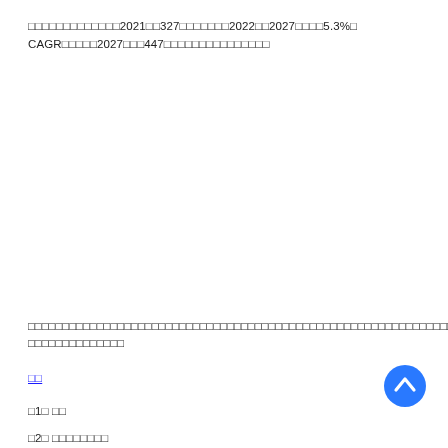□□□□□□□□□□□□□2021□□327□□□□□□□2022□□2027□□□□5.3%□CAGR□□□□□2027□□□447□□□□□□□□□□□□□□□
□□□□□□□□□□□□□□□□□□□□□□□□□□□□□□□□□□□□□□□□□□□□□□□□□□□□□□□□□□□□□□□□□□□□□□□□□□□□□□□□□□□□□□□□□□□□□□□□□□□□□□□□□□□□□□□□□□□□□□□□□□□□□□
□□
□1□ □□
□2□ □□□□□□□□